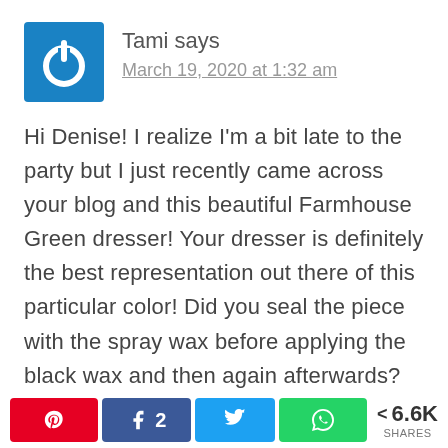[Figure (logo): Blue square avatar with white power button icon]
Tami says
March 19, 2020 at 1:32 am
Hi Denise! I realize I'm a bit late to the party but I just recently came across your blog and this beautiful Farmhouse Green dresser! Your dresser is definitely the best representation out there of this particular color! Did you seal the piece with the spray wax before applying the black wax and then again afterwards? Thank you! I've subscribed to your blog and will be looking forward to your future projects!
[Figure (infographic): Social share bar with Pinterest, Facebook (2), Twitter, WhatsApp buttons and 6.6K shares count]